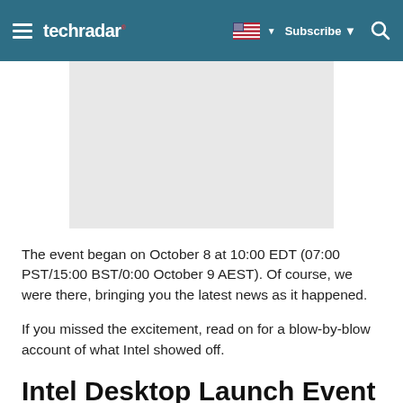techradar | Subscribe | Search
[Figure (photo): Gray placeholder image rectangle]
The event began on October 8 at 10:00 EDT (07:00 PST/15:00 BST/0:00 October 9 AEST). Of course, we were there, bringing you the latest news as it happened.
If you missed the excitement, read on for a blow-by-blow account of what Intel showed off.
Intel Desktop Launch Event 2018